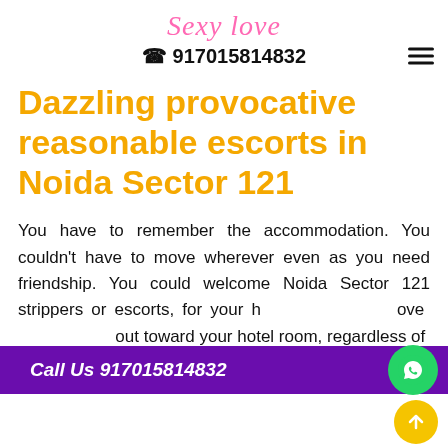Sexy love
☎ 917015814832
Dazzling provocative reasonable escorts in Noida Sector 121
You have to remember the accommodation. You couldn't have to move wherever even as you need friendship. You could welcome Noida Sector 121 strippers or escorts for your h... move... out toward your hotel room, regardless of...
Call Us 917015814832